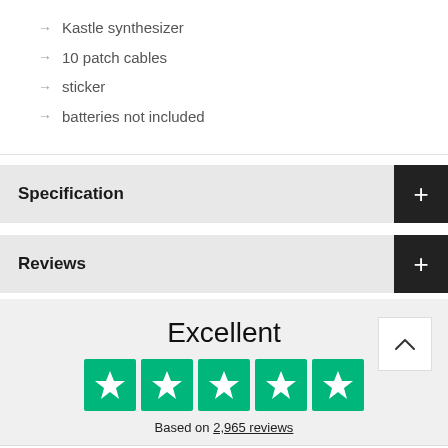→ Kastle synthesizer
→ 10 patch cables
→ sticker
→ batteries not included
Specification
Reviews
Excellent
Based on 2,965 reviews
Wishlist  Cart  Account  Search